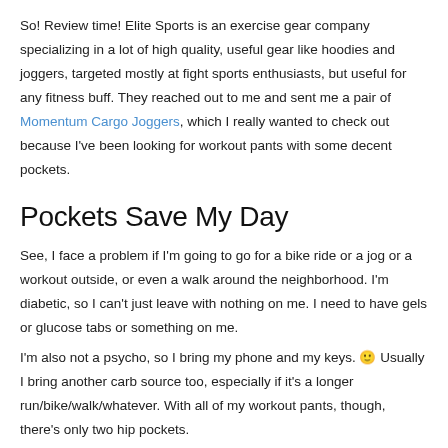So! Review time! Elite Sports is an exercise gear company specializing in a lot of high quality, useful gear like hoodies and joggers, targeted mostly at fight sports enthusiasts, but useful for any fitness buff. They reached out to me and sent me a pair of Momentum Cargo Joggers, which I really wanted to check out because I've been looking for workout pants with some decent pockets.
Pockets Save My Day
See, I face a problem if I'm going to go for a bike ride or a jog or a workout outside, or even a walk around the neighborhood. I'm diabetic, so I can't just leave with nothing on me. I need to have gels or glucose tabs or something on me.
I'm also not a psycho, so I bring my phone and my keys. 🙂 Usually I bring another carb source too, especially if it's a longer run/bike/walk/whatever. With all of my workout pants, though, there's only two hip pockets.
The Momentum Cargo Joggers solve that really well. They're still super